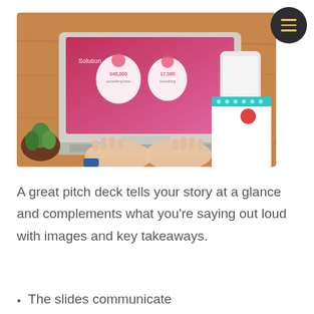[Figure (photo): Overhead shot of a person typing on a laptop with a pink presentation slide on screen showing '340,000' and '17,500' stats, with a smartphone and spiral notebook on a wooden desk. A small succulent plant is visible in the corner.]
A great pitch deck tells your story at a glance and complements what you're saying out loud with images and key takeaways.
The slides communicate